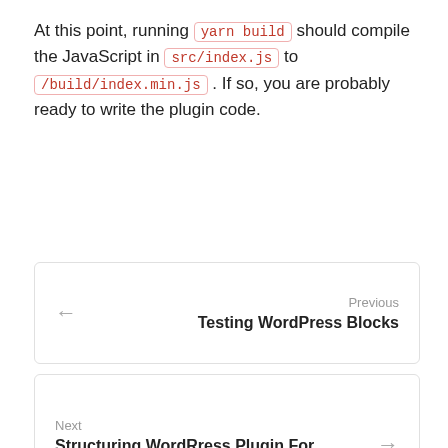At this point, running yarn build should compile the JavaScript in src/index.js to /build/index.min.js . If so, you are probably ready to write the plugin code.
Previous
Testing WordPress Blocks
Next
Structuring WordRress Plugin For Testablity